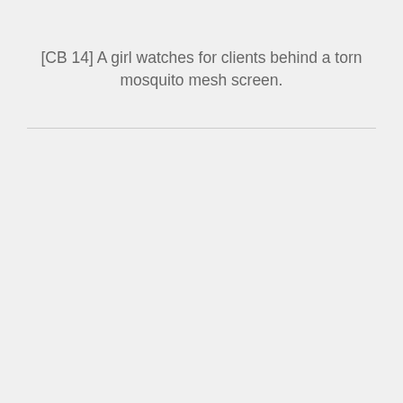[CB 14] A girl watches for clients behind a torn mosquito mesh screen.